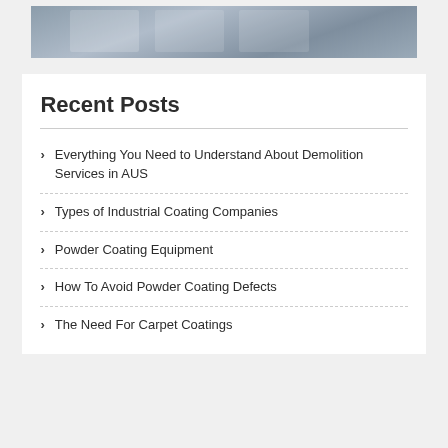[Figure (photo): Partial view of an industrial or construction image at the top of the page, mostly cropped]
Recent Posts
Everything You Need to Understand About Demolition Services in AUS
Types of Industrial Coating Companies
Powder Coating Equipment
How To Avoid Powder Coating Defects
The Need For Carpet Coatings